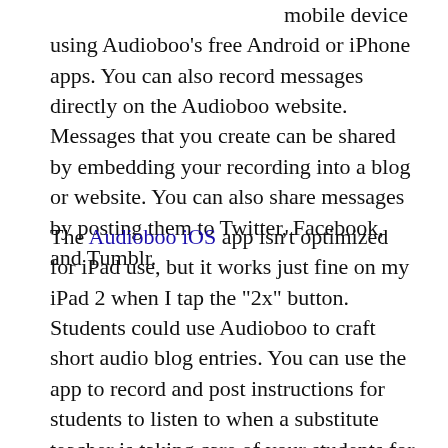messages on your mobile device using Audioboo's free Android or iPhone apps. You can also record messages directly on the Audioboo website. Messages that you create can be shared by embedding your recording into a blog or website. You can also share messages by posting them to Twitter, Facebook, and Tumblr.
The Audioboo iOS app isn't optimized for iPad use, but it works just fine on my iPad 2 when I tap the "2x" button. Students could use Audioboo to craft short audio blog entries. You can use the app to record and post instructions for students to listen to when a substitute teacher is taking care of your students for the day.